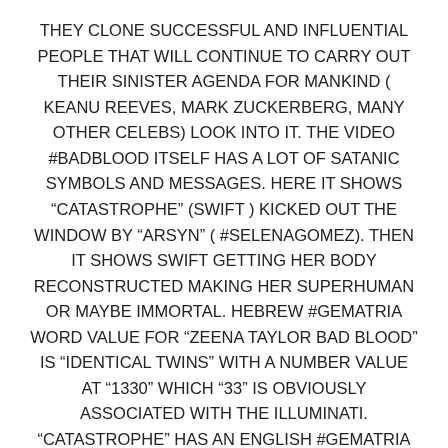THEY CLONE SUCCESSFUL AND INFLUENTIAL PEOPLE THAT WILL CONTINUE TO CARRY OUT THEIR SINISTER AGENDA FOR MANKIND ( KEANU REEVES, MARK ZUCKERBERG, MANY OTHER CELEBS) LOOK INTO IT. THE VIDEO #BADBLOOD ITSELF HAS A LOT OF SATANIC SYMBOLS AND MESSAGES. HERE IT SHOWS “CATASTROPHE” (SWIFT ) KICKED OUT THE WINDOW BY “ARSYN” ( #SELENAGOMEZ). THEN IT SHOWS SWIFT GETTING HER BODY RECONSTRUCTED MAKING HER SUPERHUMAN OR MAYBE IMMORTAL. HEBREW #GEMATRIA WORD VALUE FOR “ZEENA TAYLOR BAD BLOOD” IS “IDENTICAL TWINS” WITH A NUMBER VALUE AT “1330” WHICH “33” IS OBVIOUSLY ASSOCIATED WITH THE ILLUMINATI. “CATASTROPHE” HAS AN ENGLISH #GEMATRIA WORD VALUE OF “ DEVIL HORNS” AND